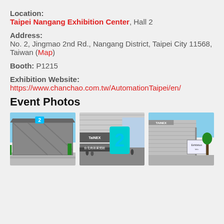Location:
Taipei Nangang Exhibition Center, Hall 2
Address:
No. 2, Jingmao 2nd Rd., Nangang District, Taipei City 11568, Taiwan (Map)
Booth: P1215
Exhibition Website:
https://www.chanchao.com.tw/AutomationTaipei/en/
Event Photos
[Figure (photo): Exterior view of Taipei Nangang Exhibition Center Hall 2 building with blue sky]
[Figure (photo): Entrance area of the exhibition center with TaiNEX sign and 台北南港展覽館 text in blue]
[Figure (photo): Exterior side view of the exhibition center building with signage]